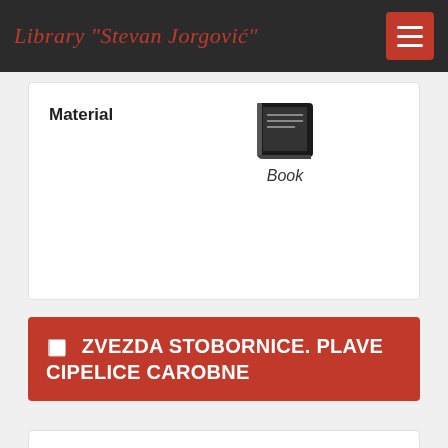Library "Stevan Jorgović"
| Field | Value |
| --- | --- |
| Material | Book |
📋 ZVEZDA STOBORNICE. PLAVE CIPELICE CAROBNE
| Field | Value |
| --- | --- |
| Author | KALAMANDA, Vladimir |
| Call Number | JF KAL Zve |
| Title Remainder | Roman |
| Responsibility | Ilustracije Tijana Markocevic |
| Collection | Juvenile Fiction |